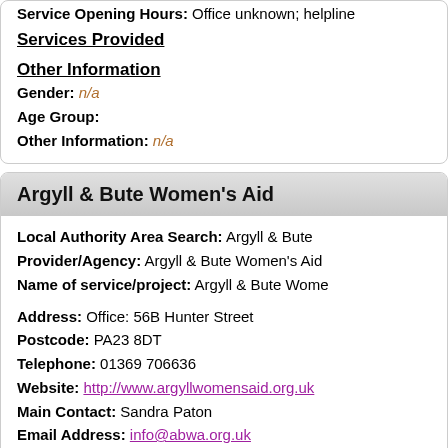Service Opening Hours: Office unknown; helpline
Services Provided
Other Information
Gender: n/a
Age Group:
Other Information: n/a
Argyll & Bute Women's Aid
Local Authority Area Search: Argyll & Bute
Provider/Agency: Argyll & Bute Women's Aid
Name of service/project: Argyll & Bute Women
Address: Office: 56B Hunter Street
Postcode: PA23 8DT
Telephone: 01369 706636
Website: http://www.argyllwomensaid.org.uk
Main Contact: Sandra Paton
Email Address: info@abwa.org.uk